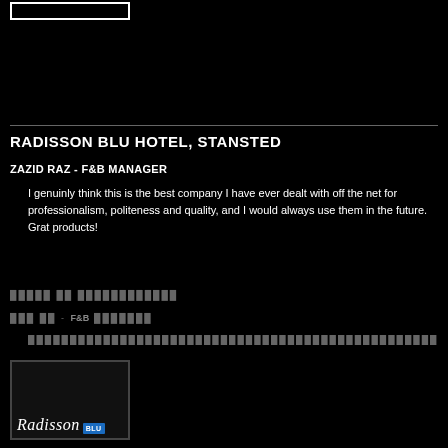[Figure (logo): White rectangular logo box outline at top left]
RADISSON BLU HOTEL, STANSTED
ZAZID RAZ - F&B MANAGER
I genuinly think this is the best company I have ever dealt with off the net for professionalism, politeness and quality, and I would always use them in the future. Grat products!
[translated hotel name - corrupted characters]
[translated manager name - corrupted characters] - F&B [corrupted characters]
[translated quote - corrupted characters]
[Figure (logo): Radisson Blu hotel logo image in dark box at bottom left]